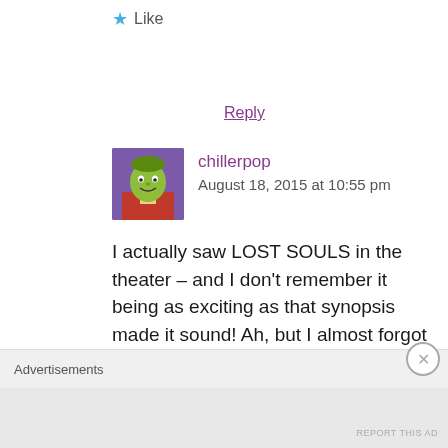★ Like
Reply
[Figure (illustration): User avatar for chillerpop — cartoon illustration of a person with green/yellow face and red clothing]
chillerpop
August 18, 2015 at 10:55 pm
I actually saw LOST SOULS in the theater – and I don't remember it being as exciting as that synopsis made it sound! Ah, but I almost forgot – THE POSSESSION OF JOEL DELANEY, with
Advertisements